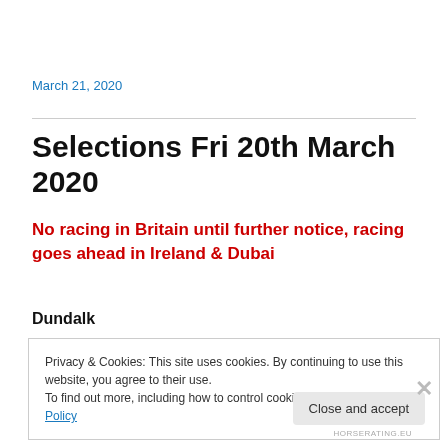March 21, 2020
Selections Fri 20th March 2020
No racing in Britain until further notice, racing goes ahead in Ireland & Dubai
Dundalk
Privacy & Cookies: This site uses cookies. By continuing to use this website, you agree to their use.
To find out more, including how to control cookies, see here: Cookie Policy
Close and accept